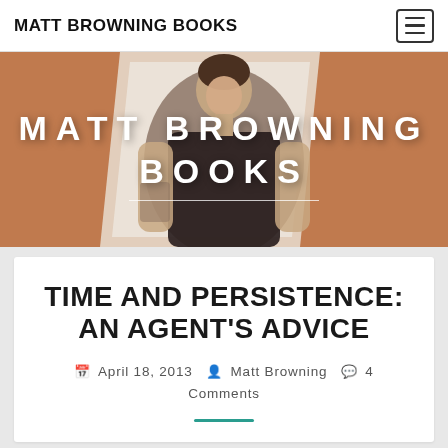MATT BROWNING BOOKS
[Figure (photo): Hero banner showing a man in a black t-shirt standing against an orange/terracotta textured wall with white painted sections. Large text overlay reads MATT BROWNING BOOKS in white uppercase letters.]
TIME AND PERSISTENCE: AN AGENT'S ADVICE
April 18, 2013  Matt Browning  4 Comments